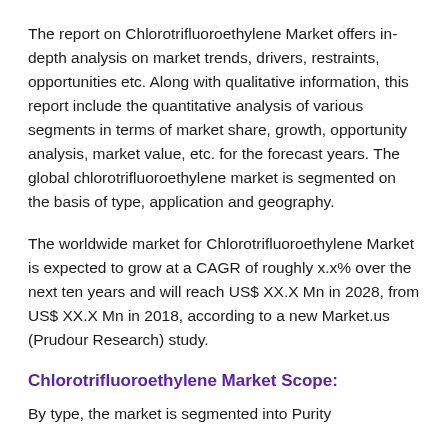The report on Chlorotrifluoroethylene Market offers in-depth analysis on market trends, drivers, restraints, opportunities etc. Along with qualitative information, this report include the quantitative analysis of various segments in terms of market share, growth, opportunity analysis, market value, etc. for the forecast years. The global chlorotrifluoroethylene market is segmented on the basis of type, application and geography.
The worldwide market for Chlorotrifluoroethylene Market is expected to grow at a CAGR of roughly x.x% over the next ten years and will reach US$ XX.X Mn in 2028, from US$ XX.X Mn in 2018, according to a new Market.us (Prudour Research) study.
Chlorotrifluoroethylene Market Scope:
By type, the market is segmented into Purity